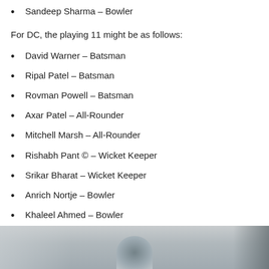Sandeep Sharma – Bowler
For DC, the playing 11 might be as follows:
David Warner – Batsman
Ripal Patel – Batsman
Rovman Powell – Batsman
Axar Patel – All-Rounder
Mitchell Marsh – All-Rounder
Rishabh Pant © – Wicket Keeper
Srikar Bharat – Wicket Keeper
Anrich Nortje – Bowler
Khaleel Ahmed – Bowler
Kuldeep Yadav – Bowler
Shardul Thakur – Bowler
[Figure (photo): Blurred photo of a cricket player at the bottom of the page]